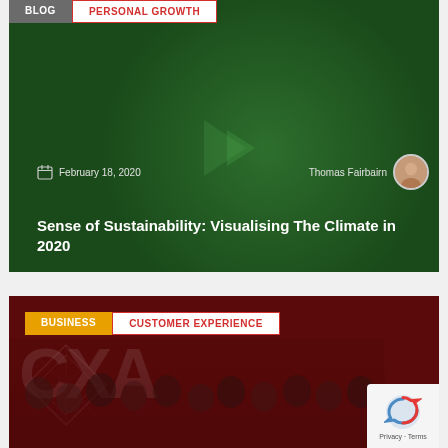[Figure (photo): Blog card with dark green background showing nature-inspired bokeh shapes, tagged BLOG and PERSONAL GROWTH. Date: February 18, 2020, Author: Thomas Fairbairn with circular avatar photo. Title: Sense of Sustainability: Visualising The Climate in 2020]
[Figure (photo): Blog card with dark red background showing a group of people at a CXA awards event. Tagged BUSINESS and CUSTOMER EXPERIENCE. Large CXA letters and diamond logo visible. Privacy / reCAPTCHA badge in bottom right corner.]